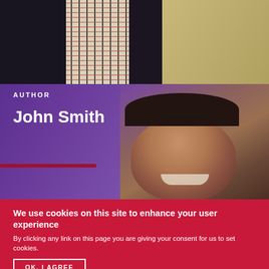[Figure (photo): Partial photo of a person from shoulders up wearing a dark blazer and plaid/checked shirt, with a beige background at top right.]
[Figure (photo): Photo of a smiling man with long hair tied back, set against a purple/violet background, with 'AUTHOR' label and 'John Smith' name overlaid on the left side.]
AUTHOR
John Smith
We use cookies on this site to enhance your user experience
By clicking any link on this page you are giving your consent for us to set cookies.
OK, I AGREE